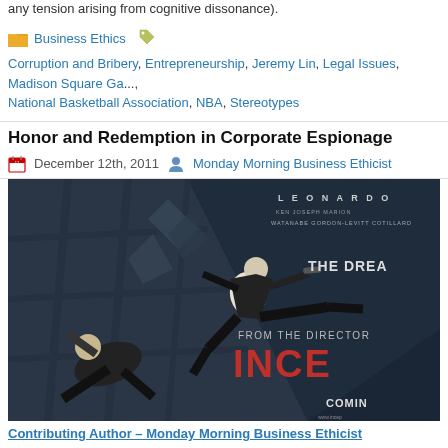any tension arising from cognitive dissonance).
Business Ethics
Corruption and Bribery, Entrepreneurship, Jeremy Lin, Legal Issues, Madison Square Ga..., National Basketball Association, NBA, Stereotypes
Honor and Redemption in Corporate Espionage
December 12th, 2011 — Monday Morning Business Ethicist
[Figure (photo): Movie poster for Inception showing a fighter in mid-air kick in a tilted corridor, with cast names Leonardo DiCaprio, Ken Watanabe, Joseph Gordon-Levitt, Marion Cotillard visible, text 'FROM THE DIRECTOR' and 'INCEP...' in red, 'COMING...' at bottom right.]
Contributing Author – Monday Morning Business Ethicist